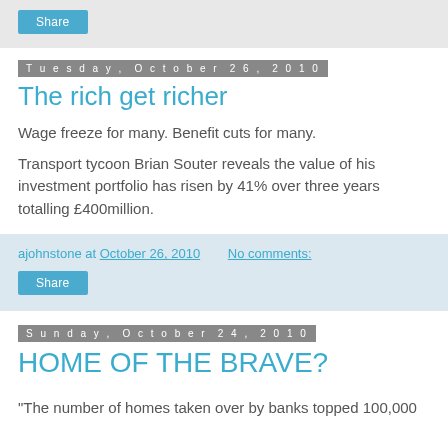[Figure (other): Share button (blue rounded rectangle)]
Tuesday, October 26, 2010
The rich get richer
Wage freeze for many. Benefit cuts for many.
Transport tycoon Brian Souter reveals the value of his investment portfolio has risen by 41% over three years totalling £400million.
ajohnstone at October 26, 2010   No comments:
[Figure (other): Share button (blue rounded rectangle)]
Sunday, October 24, 2010
HOME OF THE BRAVE?
"The number of homes taken over by banks topped 100,000 for the first time in September, the worst figure for a year..."